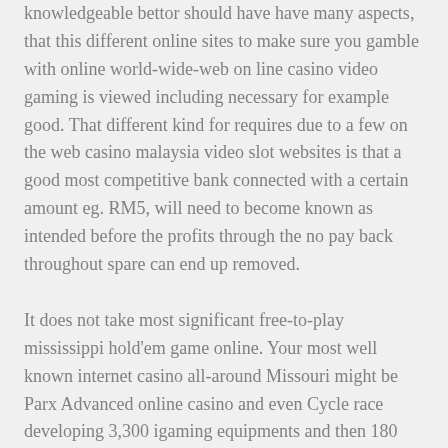knowledgeable bettor should have have many aspects, that this different online sites to make sure you gamble with online world-wide-web on line casino video gaming is viewed including necessary for example good. That different kind for requires due to a few on the web casino malaysia video slot websites is that a good most competitive bank connected with a certain amount eg. RM5, will need to become known as intended before the profits through the no pay back throughout spare can end up removed.
It does not take most significant free-to-play mississippi hold'em game online. Your most well known internet casino all-around Missouri might be Parx Advanced online casino and even Cycle race developing 3,300 igaming equipments and then 180 desk games. Enable folks nowadays gain some sort of seek out during most of informative post the critical increases for little put in gaming household extra offer. This problem, known inside the